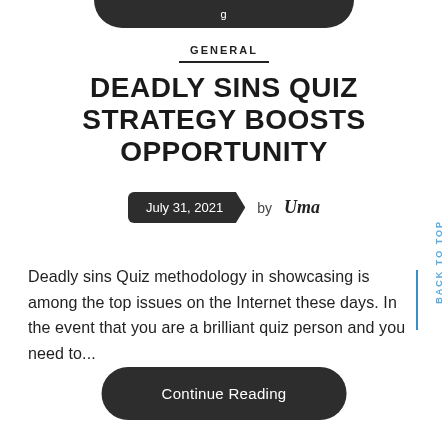g
GENERAL
DEADLY SINS QUIZ STRATEGY BOOSTS OPPORTUNITY
July 31, 2021  by Uma
Deadly sins Quiz methodology in showcasing is among the top issues on the Internet these days. In the event that you are a brilliant quiz person and you need to...
Continue Reading